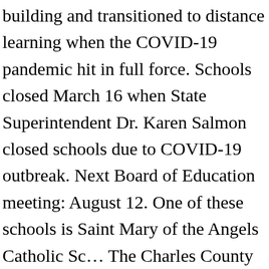building and transitioned to distance learning when the COVID-19 pandemic hit in full force. Schools closed March 16 when State Superintendent Dr. Karen Salmon closed schools due to COVID-19 outbreak. Next Board of Education meeting: August 12. One of these schools is Saint Mary of the Angels Catholic Sc… The Charles County Board of Education said July 14 that the school year would begin Aug. 31 with virtual learning for all students, with the goal of quickly transitioning to in-person instruction for special populations of students. Welcome to St. Mary's County Public...